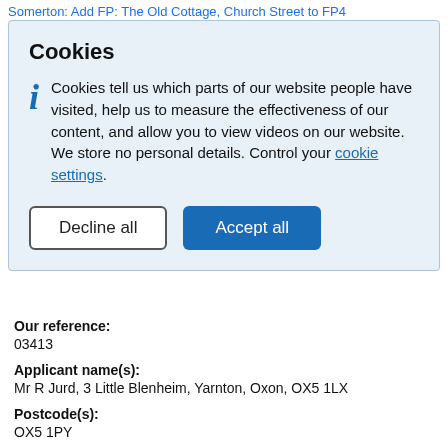Somerton: Add FP: The Old Cottage, Church Street to FP4
Cookies
Cookies tell us which parts of our website people have visited, help us to measure the effectiveness of our content, and allow you to view videos on our website. We store no personal details. Control your cookie settings.
Our reference:
03413
Applicant name(s):
Mr R Jurd, 3 Little Blenheim, Yarnton, Oxon, OX5 1LX
Postcode(s):
OX5 1PY
Parish: